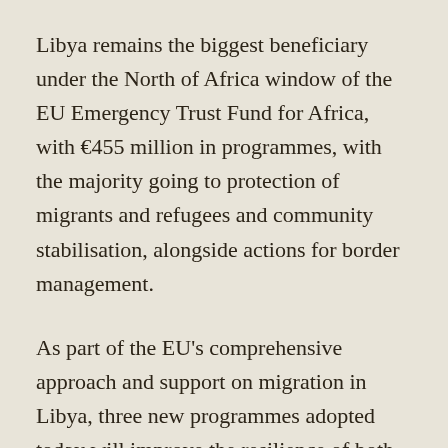Libya remains the biggest beneficiary under the North of Africa window of the EU Emergency Trust Fund for Africa, with €455 million in programmes, with the majority going to protection of migrants and refugees and community stabilisation, alongside actions for border management.
As part of the EU's comprehensive approach and support on migration in Libya, three new programmes adopted today will improve the resilience of both Libyans and migrants for the health challenges arising from the coronavirus pandemic: